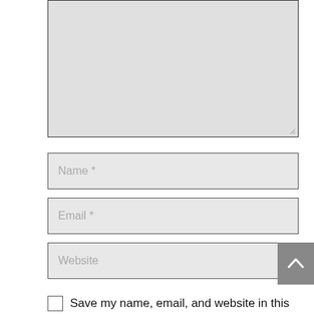[Figure (screenshot): A comment form textarea (empty, light gray background with border and resize handle) taking up the top portion of the page.]
Name *
Email *
Website
Save my name, email, and website in this